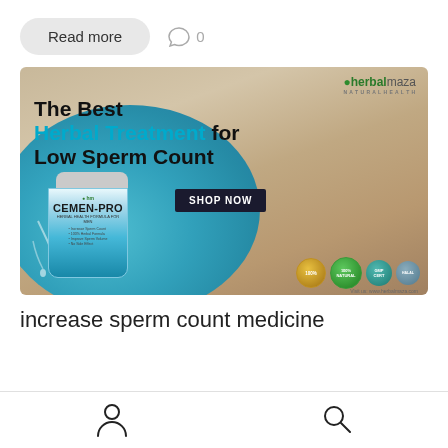Read more   0
[Figure (photo): Advertisement banner for Cemen-Pro herbal supplement by herbalmaza. Shows a couple lying in bed smiling, a product jar with the label CEMEN-PRO, sperm cell illustrations, and badges. Text reads: The Best Herbal Treatment for Low Sperm Count. SHOP NOW button. Visit us: www.herbalmaza.com]
increase sperm count medicine
Person icon   Search icon